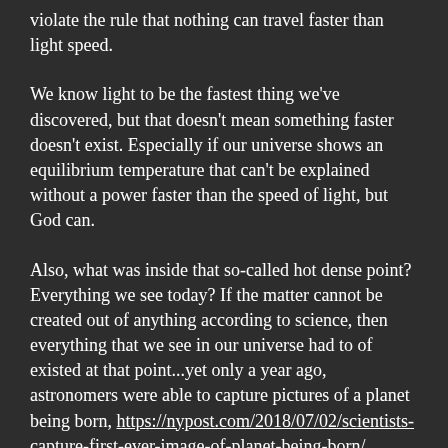violate the rule that nothing can travel faster than light speed.
We know light to be the fastest thing we've discovered, but that doesn't mean something faster doesn't exist. Especially if our universe shows an equilibrium temperature that can't be explained without a power faster than the speed of light, but God can.
Also, what was inside that so-called hot dense point? Everything we see today? If the matter cannot be created out of anything according to science, then everything that we see in our universe had to of existed at that point...yet only a year ago, astronomers were able to capture pictures of a planet being born, https://nypost.com/2018/07/02/scientists-capture-first-ever-image-of-planet-being-born/